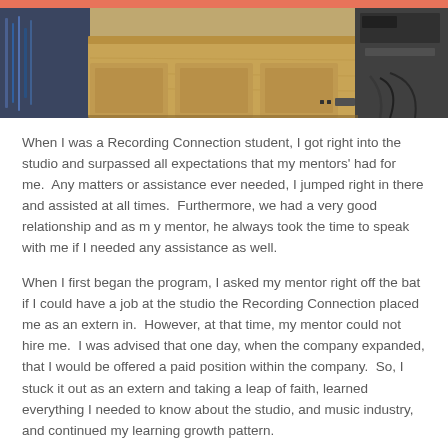[Figure (photo): A photo of a recording studio desk/console surface with wooden cabinetry and cables visible, with some audio equipment in the background.]
When I was a Recording Connection student, I got right into the studio and surpassed all expectations that my mentors' had for me.  Any matters or assistance ever needed, I jumped right in there and assisted at all times.  Furthermore, we had a very good relationship and as m y mentor, he always took the time to speak with me if I needed any assistance as well.
When I first began the program, I asked my mentor right off the bat if I could have a job at the studio the Recording Connection placed me as an extern in.  However, at that time, my mentor could not hire me.  I was advised that one day, when the company expanded, that I would be offered a paid position within the company.  So, I stuck it out as an extern and taking a leap of faith, learned everything I needed to know about the studio, and music industry, and continued my learning growth pattern.